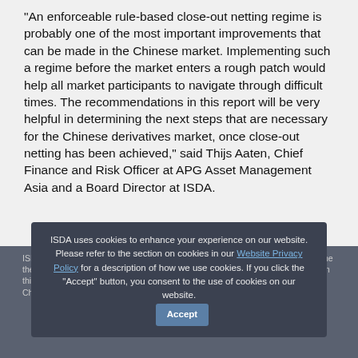“An enforceable rule-based close-out netting regime is probably one of the most important improvements that can be made in the Chinese market. Implementing such a regime before the market enters a rough patch would help all market participants to navigate through difficult times. The recommendations in this report will be very helpful in determining the next steps that are necessary for the Chinese derivatives market, once close-out netting has been achieved,” said Thijs Aaten, Chief Finance and Risk Officer at APG Asset Management Asia and a Board Director at ISDA.
ISDA will work closely with policymakers and market participants to explore the key themes from this paper, including the Futures and Derivatives Law on January 10, to explore the key themes from this paper, including the Futures and Derivatives Law and future developments at China’s derivatives...
ISDA uses cookies to enhance your experience on our website. Please refer to the section on cookies in our Website Privacy Policy for a description of how we use cookies. If you click the "Accept" button, you consent to the use of cookies on our website.